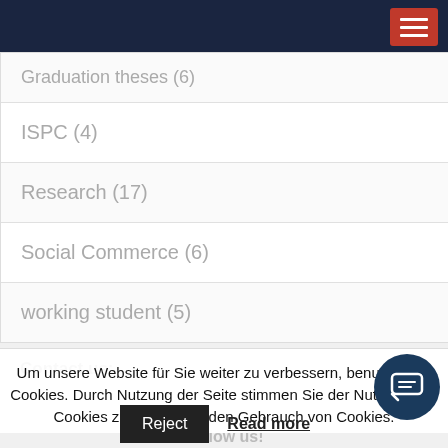Graduation theses (6)
ISPC (4)
Research (17)
Social Commerce (6)
working student (5)
Contact us:
Um unsere Website für Sie weiter zu verbessern, benutzen wir Cookies. Durch Nutzung der Seite stimmen Sie der Nutzung von Cookies zu. Mehr über den Gebrauch von Cookies.
Follow us!